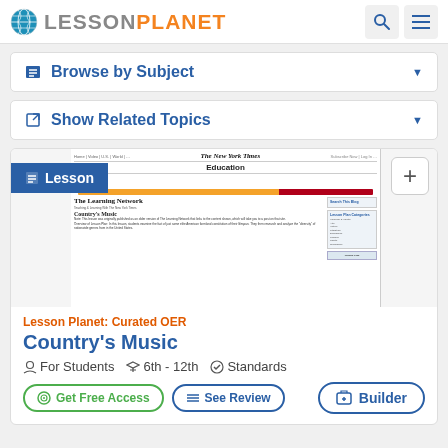Lesson Planet
Browse by Subject
Show Related Topics
[Figure (screenshot): Preview screenshot of The New York Times Learning Network page showing 'Country's Music' lesson with article text and sidebar categories.]
Lesson Planet: Curated OER
Country's Music
For Students  6th - 12th  Standards
Get Free Access  See Review  Builder